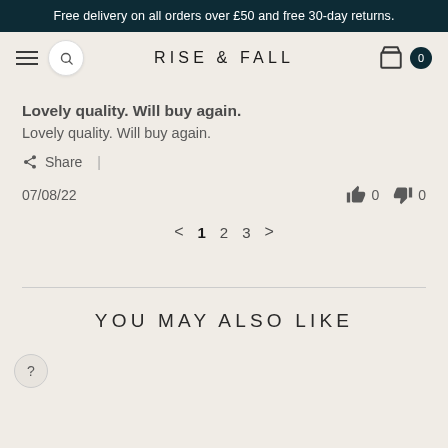Free delivery on all orders over £50 and free 30-day returns.
RISE & FALL
Lovely quality. Will buy again.
Lovely quality. Will buy again.
Share |
07/08/22
< 1 2 3 >
YOU MAY ALSO LIKE